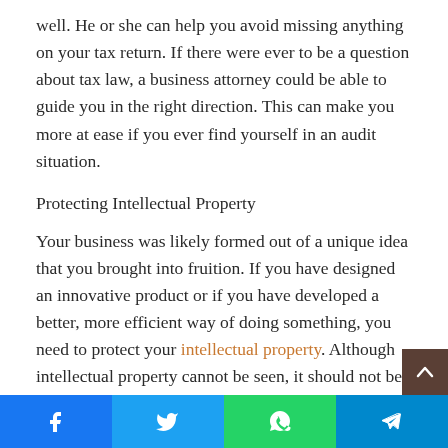well. He or she can help you avoid missing anything on your tax return. If there were ever to be a question about tax law, a business attorney could be able to guide you in the right direction. This can make you more at ease if you ever find yourself in an audit situation.
Protecting Intellectual Property
Your business was likely formed out of a unique idea that you brought into fruition. If you have designed an innovative product or if you have developed a better, more efficient way of doing something, you need to protect your intellectual property. Although intellectual property cannot be seen, it should not be overlooked when protecting your business assets. A helpful business attorney can guide you in safeguarding the ideas into which you have invested so mu...